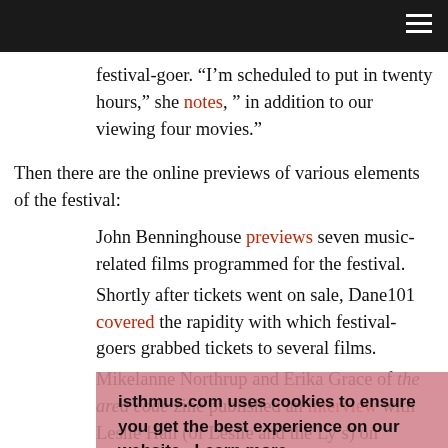[Navigation bar]
festival-goer. “I’m scheduled to put in twenty hours,” she notes, ” in addition to our viewing four movies.”
Then there are the online previews of various elements of the festival:
John Benninghouse previews seven music-related films programmed for the festival.
Shortly after tickets went on sale, Dane101 covered the rapidity with which festival-goers grabbed tickets to several films.
Mikelanne Northrup and Erika Grace of the area code zine published an interview with Leslie Hall (of Leslie and the Ly’s) on Dane101 in advance of the gem-sweater sensation’s gig at the first official festival party at Café Montmartre on Friday night.
isthmus.com uses cookies to ensure you get the best experience on our website. Learn more
Got it!